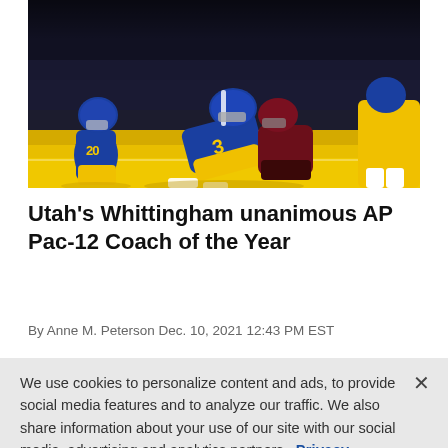[Figure (photo): Football action photo showing players in blue and gold uniforms (numbers 20 and 3 visible) tackling during a game. Players wear blue helmets with gold trim on a yellow-painted end zone.]
Utah's Whittingham unanimous AP Pac-12 Coach of the Year
By Anne M. Peterson Dec. 10, 2021 12:43 PM EST
We use cookies to personalize content and ads, to provide social media features and to analyze our traffic. We also share information about your use of our site with our social media, advertising and analytics partners.  Privacy Policy
Cookies Settings
Accept All Cookies